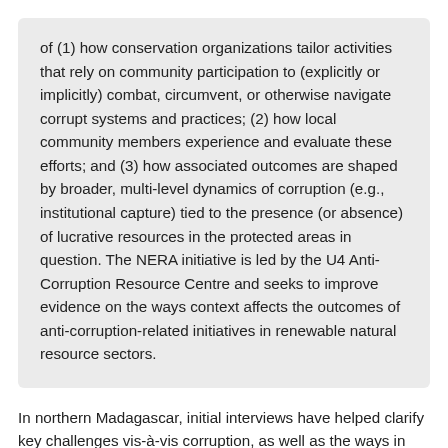of (1) how conservation organizations tailor activities that rely on community participation to (explicitly or implicitly) combat, circumvent, or otherwise navigate corrupt systems and practices; (2) how local community members experience and evaluate these efforts; and (3) how associated outcomes are shaped by broader, multi-level dynamics of corruption (e.g., institutional capture) tied to the presence (or absence) of lucrative resources in the protected areas in question. The NERA initiative is led by the U4 Anti-Corruption Resource Centre and seeks to improve evidence on the ways context affects the outcomes of anti-corruption-related initiatives in renewable natural resource sectors.
In northern Madagascar, initial interviews have helped clarify key challenges vis-à-vis corruption, as well as the ways in which organizations have tried to respond. Illicit